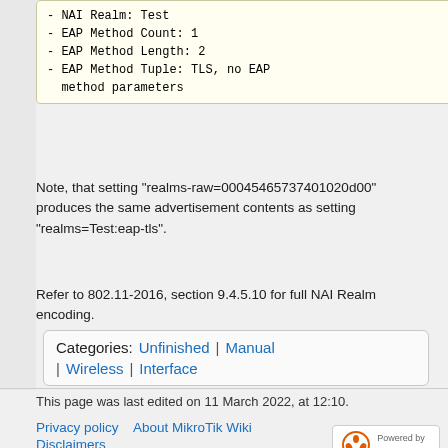- NAI Realm: Test
- EAP Method Count: 1
- EAP Method Length: 2
- EAP Method Tuple: TLS, no EAP method parameters
Note, that setting "realms-raw=000454657374010 2 0d00" produces the same advertisement contents as setting "realms=Test:eap-tls".
Refer to 802.11-2016, section 9.4.5.10 for full NAI Realm encoding.
Categories: Unfinished | Manual | Wireless | Interface
This page was last edited on 11 March 2022, at 12:10.
Privacy policy  About MikroTik Wiki
Disclaimers